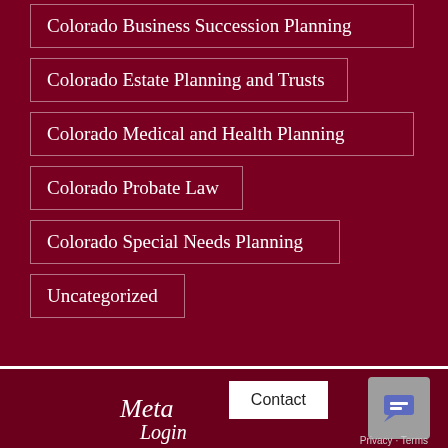Colorado Business Succession Planning
Colorado Estate Planning and Trusts
Colorado Medical and Health Planning
Colorado Probate Law
Colorado Special Needs Planning
Uncategorized
Meta
Contact
Login